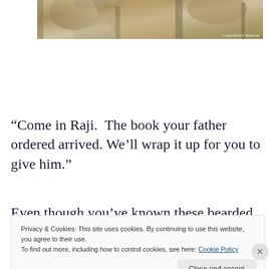[Figure (photo): Photograph of rocky/stone texture, partially cropped at top. Shows beige and tan colored rock surface. Copyright notice visible in lower right corner of image.]
“Come in Raji.  The book your father ordered arrived.  We’ll wrap it up for you to give him.”
Even though you’ve known these bearded and ancient
Indian neighborhood Uncles as long as you can
Privacy & Cookies: This site uses cookies. By continuing to use this website, you agree to their use.
To find out more, including how to control cookies, see here: Cookie Policy
Close and accept